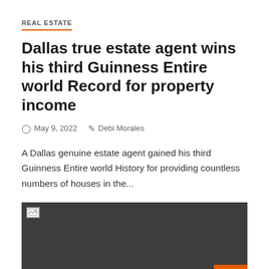REAL ESTATE
Dallas true estate agent wins his third Guinness Entire world Record for property income
May 9, 2022   Debi Morales
A Dallas genuine estate agent gained his third Guinness Entire world History for providing countless numbers of houses in the...
[Figure (photo): Dark grey placeholder image with broken image icon in top-left corner and an orange scroll-to-top button in the bottom-right corner]